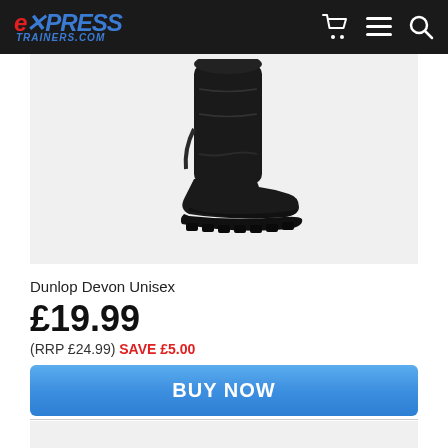Express Trainers .com
[Figure (photo): Black Dunlop Devon Unisex Wellington boot, side profile view, showing tall shaft, elasticated side gusset, and chunky black rubber sole, shown against a light grey background.]
Dunlop Devon Unisex
£19.99
(RRP £24.99) SAVE £5.00
BUY NOW
Sizes: 3, 4, 5, 6, 6½, 7, 8, 9, 10, 10½, 11, 12